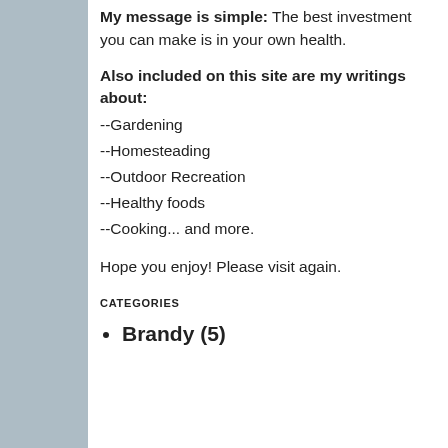My message is simple: The best investment you can make is in your own health.
Also included on this site are my writings about:
--Gardening
--Homesteading
--Outdoor Recreation
--Healthy foods
--Cooking... and more.
Hope you enjoy! Please visit again.
CATEGORIES
Brandy (5)
commr nurtur
LOYAL
of the ministr
Loyalty reliable that it talente that a
on Apr
Labels